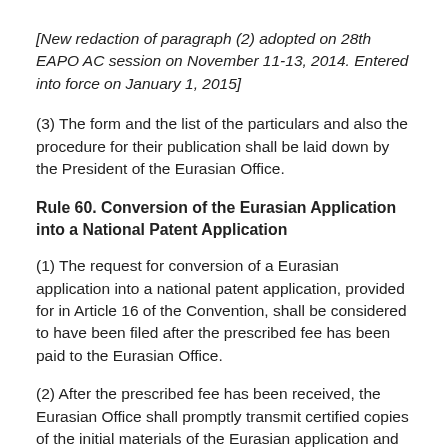[New redaction of paragraph (2) adopted on 28th EAPO AC session on November 11-13, 2014. Entered into force on January 1, 2015]
(3) The form and the list of the particulars and also the procedure for their publication shall be laid down by the President of the Eurasian Office.
Rule 60. Conversion of the Eurasian Application into a National Patent Application
(1) The request for conversion of a Eurasian application into a national patent application, provided for in Article 16 of the Convention, shall be considered to have been filed after the prescribed fee has been paid to the Eurasian Office.
(2) After the prescribed fee has been received, the Eurasian Office shall promptly transmit certified copies of the initial materials of the Eurasian application and copy of the corresponding request of the applicant to the national Offices of those Contracting States in which the applicant wishes to